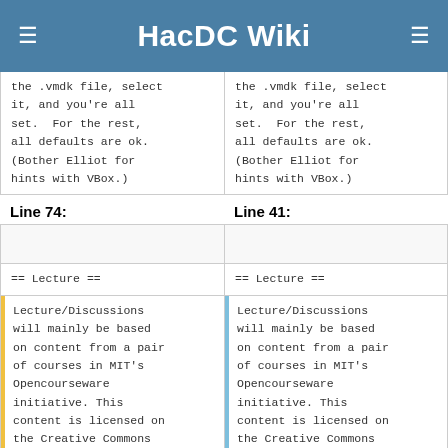HacDC Wiki
the .vmdk file, select it, and you're all set.  For the rest, all defaults are ok. (Bother Elliot for hints with VBox.)
the .vmdk file, select it, and you're all set.  For the rest, all defaults are ok. (Bother Elliot for hints with VBox.)
Line 74:
Line 41:
== Lecture ==
== Lecture ==
Lecture/Discussions will mainly be based on content from a pair of courses in MIT's Opencourseware initiative. This content is licensed on the Creative Commons
Lecture/Discussions will mainly be based on content from a pair of courses in MIT's Opencourseware initiative. This content is licensed on the Creative Commons